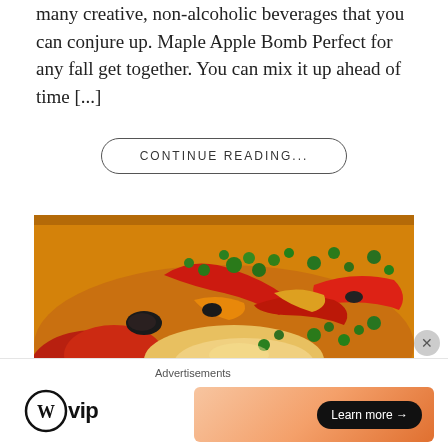many creative, non-alcoholic beverages that you can conjure up. Maple Apple Bomb Perfect for any fall get together. You can mix it up ahead of time [...]
CONTINUE READING...
[Figure (photo): Close-up photo of a cooked dish with roasted red peppers, black olives, melted cheese, and fresh chopped parsley on a golden sauce]
Advertisements
[Figure (logo): WordPress VIP logo with circle W icon and 'vip' text]
[Figure (infographic): Peach/orange gradient advertisement banner with 'Learn more' button]